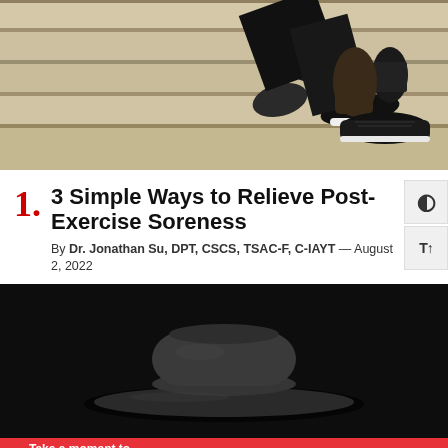[Figure (photo): Person's legs wearing dark athletic shoes climbing concrete stairs, viewed from low angle]
3 Simple Ways to Relieve Post-Exercise Soreness
By Dr. Jonathan Su, DPT, CSCS, TSAC-F, C-IAYT — August 2, 2022
[Figure (photo): Black and white photo of a wide-brimmed fedora hat on a dark background]
Take a moment to text your friend who seems kinda down.
Learn more